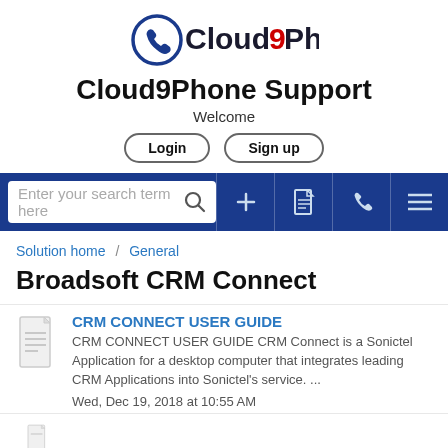[Figure (logo): Cloud9Phone logo with phone handset icon]
Cloud9Phone Support
Welcome
Login   Sign up
[Figure (screenshot): Navigation/search bar with search input, plus icon, document icon, phone icon, and menu icon on dark blue background]
Solution home / General
Broadsoft CRM Connect
CRM CONNECT USER GUIDE
CRM CONNECT USER GUIDE CRM Connect is a Sonictel Application for a desktop computer that integrates leading CRM Applications into Sonictel's service.  ...
Wed, Dec 19, 2018 at 10:55 AM